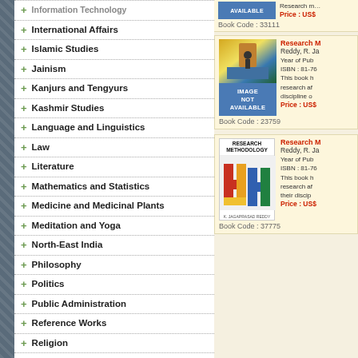+ Information Technology
+ International Affairs
+ Islamic Studies
+ Jainism
+ Kanjurs and Tengyurs
+ Kashmir Studies
+ Language and Linguistics
+ Law
+ Literature
+ Mathematics and Statistics
+ Medicine and Medicinal Plants
+ Meditation and Yoga
+ North-East India
+ Philosophy
+ Politics
+ Public Administration
+ Reference Works
+ Religion
+ Sanskrit Texts
+ Science and Technology
+ Sikhism
+ Sociology
[Figure (photo): Book cover image not available placeholder (blue banner)]
Book Code : 33111
Research M...
Reddy, R. Ja...
Year of Pub
ISBN : 81-76
This book h research af discipline o
Price : US$
[Figure (photo): Book with figure and image not available placeholder]
Book Code : 23759
Research M...
Reddy, R. Ja...
Year of Pub
ISBN : 81-76
This book h research af discipline of
Price : US$
[Figure (photo): Research Methodology book cover with colorful geometric shapes]
Book Code : 37775
Research M...
Reddy, R. Ja...
Year of Pub
ISBN : 81-76
This book h research af their discip
Price : US$